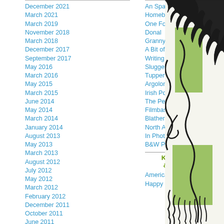December 2021
March 2021
March 2019
November 2018
March 2018
December 2017
September 2017
May 2016
March 2016
May 2015
March 2015
June 2014
May 2014
March 2014
January 2014
August 2013
May 2013
March 2013
August 2012
July 2012
May 2012
March 2012
February 2012
December 2011
October 2011
June 2011
May 2011
March 2011
February 2011
December 2010
November 2010
October 2010
An Spailpin Fanach
Homebug
One For The Road
Donal
Grannymar
A Bit of Bonhomie
Writing It Down Fills In...
Slugger O'Toole
Tuppenceworth
Argolon
Irish Politics
The Persuaders
Filmbase
Blather Abroad
North Atlantic Skyline
In Photo Dot Org
B&W Photos of Ireland
Kansas City & Missouri
American Hell
Happy In Bag
[Figure (illustration): Stylized black line drawing of a figure with green accents, partial view on right side of page]